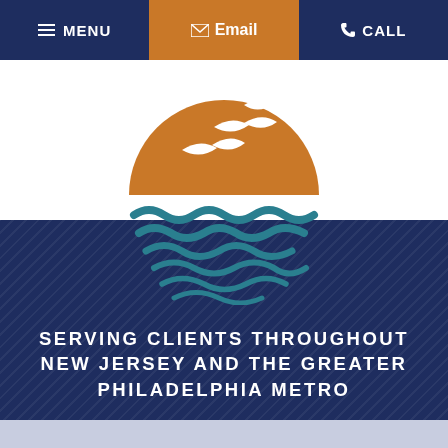MENU | Email | CALL
[Figure (logo): Law firm logo: orange semicircle sun with white seagulls above teal wave shapes, over a dark navy diagonal-striped background]
SERVING CLIENTS THROUGHOUT NEW JERSEY AND THE GREATER PHILADELPHIA METRO
CONTACT THE FIRM